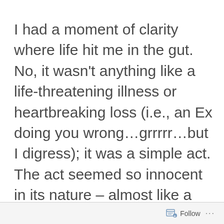I had a moment of clarity where life hit me in the gut. No, it wasn't anything like a life-threatening illness or heartbreaking loss (i.e., an Ex doing you wrong...grrrrr…but I digress); it was a simple act. The act seemed so innocent in its nature – almost like a flower deciding the time was right to
[Figure (other): Follow button bar at bottom with a small document/follow icon, the word Follow, and three dots menu]